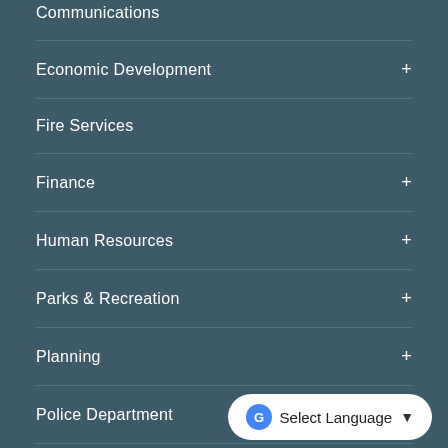Communications
Economic Development
Fire Services
Finance
Human Resources
Parks & Recreation
Planning
Police Department
Public Works
Select Language